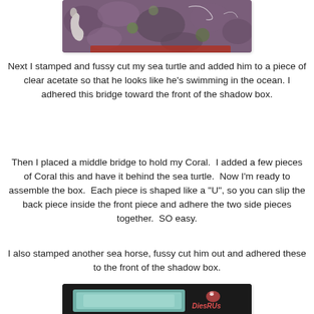[Figure (photo): Close-up photo of colorful ocean/coral texture with purple, green, red tones and a white/clear seahorse or shell shape on the left side]
Next I stamped and fussy cut my sea turtle and added him to a piece of clear acetate so that he looks like he's swimming in the ocean. I adhered this bridge toward the front of the shadow box.
Then I placed a middle bridge to hold my Coral.  I added a few pieces of Coral this and have it behind the sea turtle.  Now I'm ready to assemble the box.  Each piece is shaped like a "U", so you can slip the back piece inside the front piece and adhere the two side pieces together.  SO easy.
I also stamped another sea horse, fussy cut him out and adhered these to the front of the shadow box.
[Figure (photo): Photo of a shadow box craft project showing a teal/mint colored U-shaped box structure on a dark background, with DiesRUs logo visible]